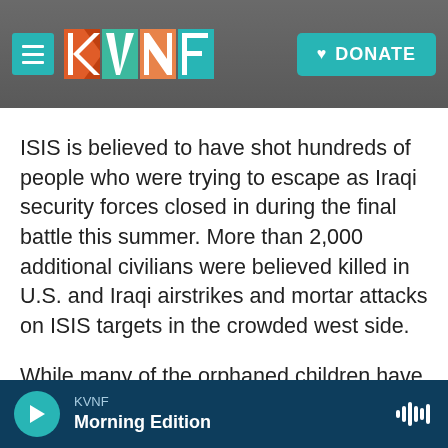KVNF | DONATE
ISIS is believed to have shot hundreds of people who were trying to escape as Iraqi security forces closed in during the final battle this summer. More than 2,000 additional civilians were believed killed in U.S. and Iraqi airstrikes and mortar attacks on ISIS targets in the crowded west side.
While many of the orphaned children have been absorbed into the families of relatives who care for them, some are left to fend for themselves. In Iraq's tribal culture, it's considered shameful to send children to orphanages. Many of them end with
KVNF Morning Edition